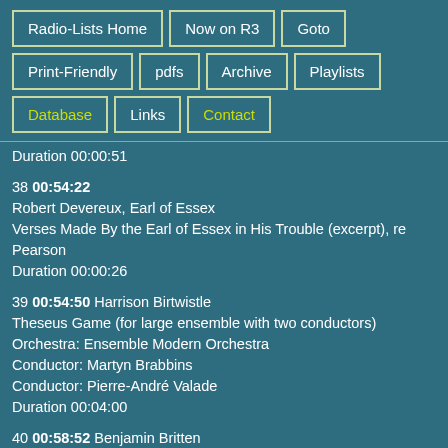Radio-Lists Home
Now on R3
Goto
Print-Friendly
pdfs
Archive
Playlists
Database
Links
Contact
Duration 00:00:51
38 00:54:22
Robert Devereux, Earl of Essex
Verses Made By the Earl of Essex in His Trouble (excerpt), re
Pearson
Duration 00:00:26
39 00:54:50 Harrison Birtwistle
Theseus Game (for large ensemble with two conductors)
Orchestra: Ensemble Modern Orchestra
Conductor: Martyn Brabbins
Conductor: Pierre-André Valade
Duration 00:04:00
40 00:58:52 Benjamin Britten